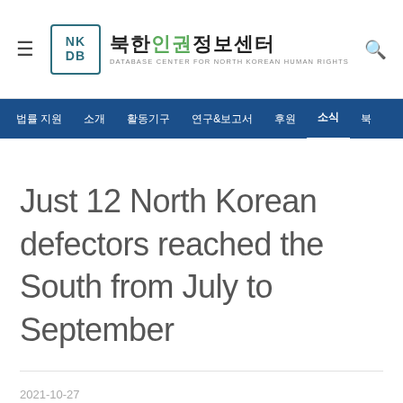북한인권정보센터 DATABASE CENTER FOR NORTH KOREAN HUMAN RIGHTS
법률 지원 소개 활동기구 연구&보고서 후원 소식 북
Just 12 North Korean defectors reached the South from July to September
2021-10-27
[2021-10-22 NK NEWS]